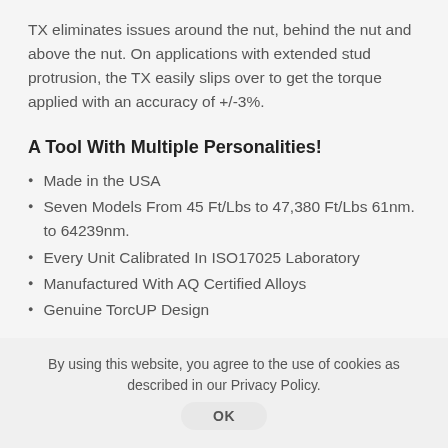TX eliminates issues around the nut, behind the nut and above the nut. On applications with extended stud protrusion, the TX easily slips over to get the torque applied with an accuracy of +/-3%.
A Tool With Multiple Personalities!
Made in the USA
Seven Models From 45 Ft/Lbs to 47,380 Ft/Lbs 61nm. to 64239nm.
Every Unit Calibrated In ISO17025 Laboratory
Manufactured With AQ Certified Alloys
Genuine TorcUP Design
By using this website, you agree to the use of cookies as described in our Privacy Policy.